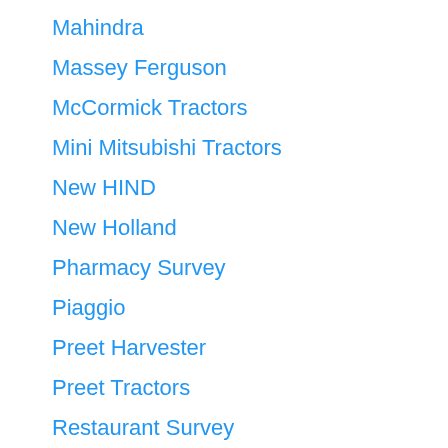Mahindra
Massey Ferguson
McCormick Tractors
Mini Mitsubishi Tractors
New HIND
New Holland
Pharmacy Survey
Piaggio
Preet Harvester
Preet Tractors
Restaurant Survey
Retail Survey
SAME